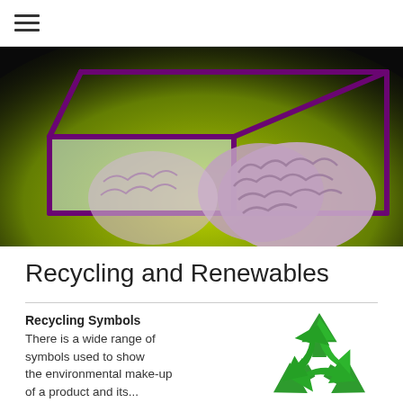≡ (hamburger menu)
[Figure (illustration): A 3D open box outline in purple on a yellow-green glowing background with a human brain sitting inside/outside the box, concept art for 'thinking outside the box']
Recycling and Renewables
Recycling Symbols
There is a wide range of symbols used to show the environmental make-up of a product and its...
[Figure (illustration): Green recycling symbol with three chasing arrows forming a triangle]